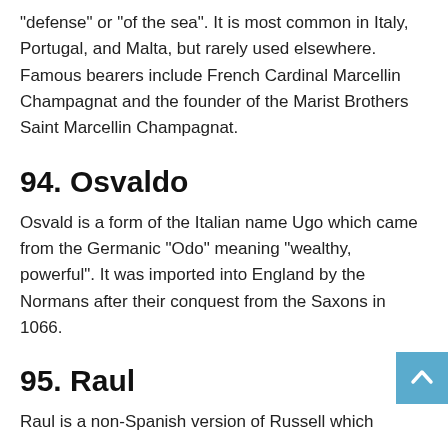“defense” or “of the sea”. It is most common in Italy, Portugal, and Malta, but rarely used elsewhere. Famous bearers include French Cardinal Marcellin Champagnat and the founder of the Marist Brothers Saint Marcellin Champagnat.
94. Osvaldo
Osvald is a form of the Italian name Ugo which came from the Germanic “Odo” meaning “wealthy, powerful”. It was imported into England by the Normans after their conquest from the Saxons in 1066.
95. Raul
Raul is a non-Spanish version of Russell which